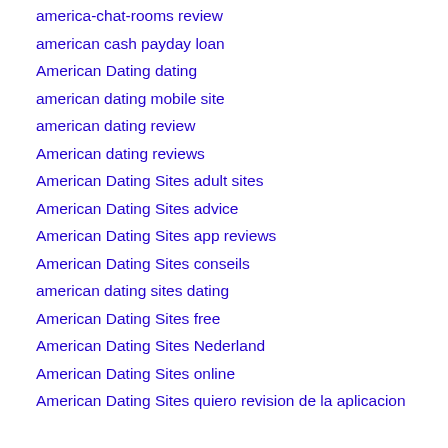america-chat-rooms review
american cash payday loan
American Dating dating
american dating mobile site
american dating review
American dating reviews
American Dating Sites adult sites
American Dating Sites advice
American Dating Sites app reviews
American Dating Sites conseils
american dating sites dating
American Dating Sites free
American Dating Sites Nederland
American Dating Sites online
American Dating Sites quiero revision de la aplicacion